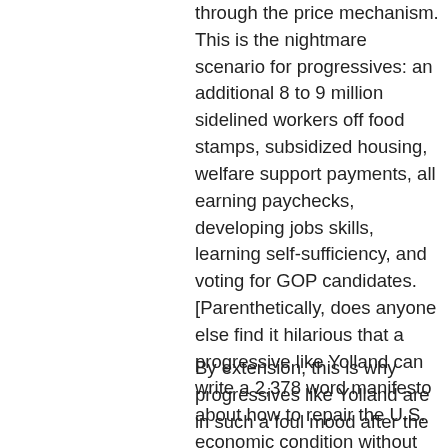through the price mechanism. This is the nightmare scenario for progressives: an additional 8 to 9 million sidelined workers off food stamps, subsidized housing, welfare support payments, all earning paychecks, developing jobs skills, learning self-sufficiency, and voting for GOP candidates. [Parenthetically, does anyone else find it hilarious that a progressive like Yolland can write a 2,378 word manifesto about how to repair the U.S. economic condition without including a single number (other than to tell us how much solar company shares declined on Wednesday November 9th)?]
By extension, this is why progressives like Yolland are in such a foul mood after the